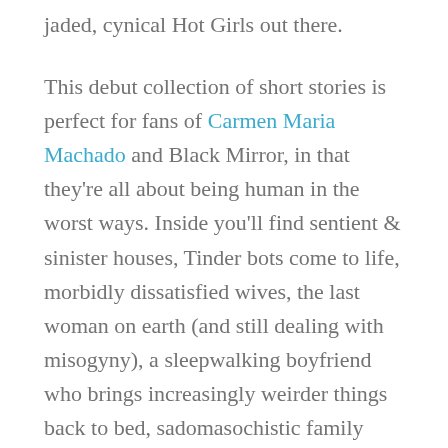jaded, cynical Hot Girls out there.
This debut collection of short stories is perfect for fans of Carmen Maria Machado and Black Mirror, in that they're all about being human in the worst ways. Inside you'll find sentient & sinister houses, Tinder bots come to life, morbidly dissatisfied wives, the last woman on earth (and still dealing with misogyny), a sleepwalking boyfriend who brings increasingly weirder things back to bed, sadomasochistic family gatherings, and oh god so much more. I love love loved every story in this collection, and so did Kelly Link (Get In